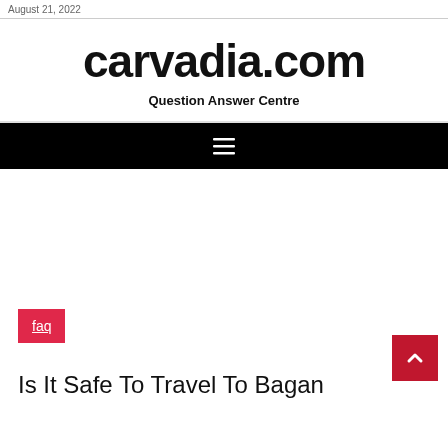August 21, 2022
carvadia.com
Question Answer Centre
[Figure (other): Navigation bar with hamburger menu icon (three horizontal lines) on black background]
faq
Is It Safe To Travel To Bagan